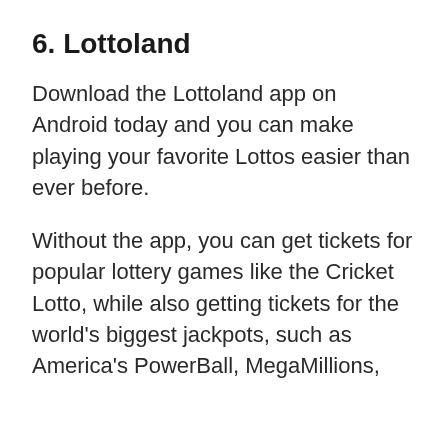6. Lottoland
Download the Lottoland app on Android today and you can make playing your favorite Lottos easier than ever before.
Without the app, you can get tickets for popular lottery games like the Cricket Lotto, while also getting tickets for the world's biggest jackpots, such as America's PowerBall, MegaMillions,